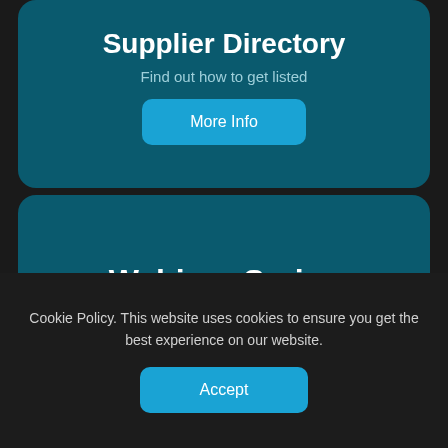Supplier Directory
Find out how to get listed
More Info
Webinar Series
Find out how to attend
More Info
Cookie Policy. This website uses cookies to ensure you get the best experience on our website.
Accept